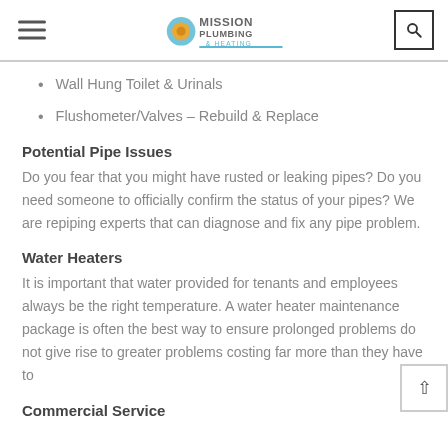Mission Plumbing & Heating
Wall Hung Toilet & Urinals
Flushometer/Valves – Rebuild & Replace
Potential Pipe Issues
Do you fear that you might have rusted or leaking pipes? Do you need someone to officially confirm the status of your pipes? We are repiping experts that can diagnose and fix any pipe problem.
Water Heaters
It is important that water provided for tenants and employees always be the right temperature. A water heater maintenance package is often the best way to ensure prolonged problems do not give rise to greater problems costing far more than they have to
Commercial Service